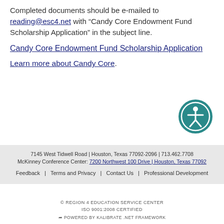Completed documents should be e-mailed to reading@esc4.net with “Candy Core Endowment Fund Scholarship Application” in the subject line.
Candy Core Endowment Fund Scholarship Application
Learn more about Candy Core.
7145 West Tidwell Road | Houston, Texas 77092-2096 | 713.462.7708
McKinney Conference Center: 7200 Northwest 100 Drive | Houston, Texas 77092
Feedback | Terms and Privacy | Contact Us | Professional Development
© REGION 4 EDUCATION SERVICE CENTER
ISO 9001:2008 CERTIFIED
POWERED BY KALIBRATE .NET FRAMEWORK